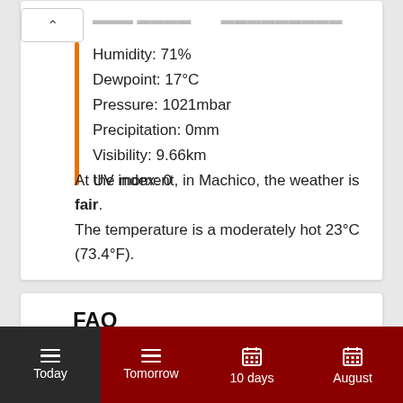Humidity: 71%
Dewpoint: 17°C
Pressure: 1021mbar
Precipitation: 0mm
Visibility: 9.66km
UV index: 0
At the moment, in Machico, the weather is fair. The temperature is a moderately hot 23°C (73.4°F).
FAQ
Today | Tomorrow | 10 days | August